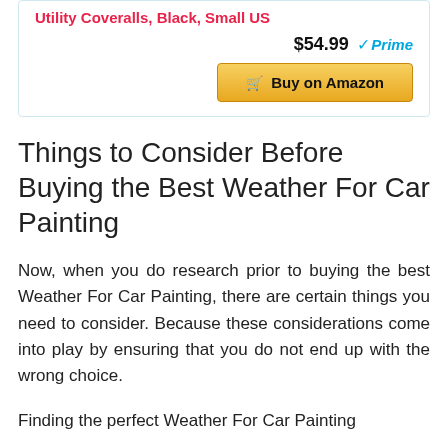Utility Coveralls, Black, Small US
$54.99 Prime
Buy on Amazon
Things to Consider Before Buying the Best Weather For Car Painting
Now, when you do research prior to buying the best Weather For Car Painting, there are certain things you need to consider. Because these considerations come into play by ensuring that you do not end up with the wrong choice.
Finding the perfect Weather For Car Painting